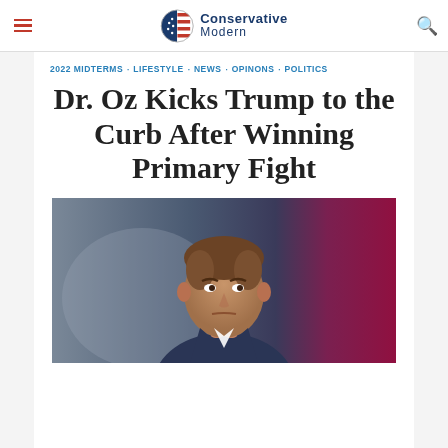Conservative Modern
2022 MIDTERMS · LIFESTYLE · NEWS · OPINONS · POLITICS
Dr. Oz Kicks Trump to the Curb After Winning Primary Fight
[Figure (photo): Photo of Dr. Oz, a man with brown hair, wearing a suit, against a blurred dark background with pink/magenta tones on the right side.]